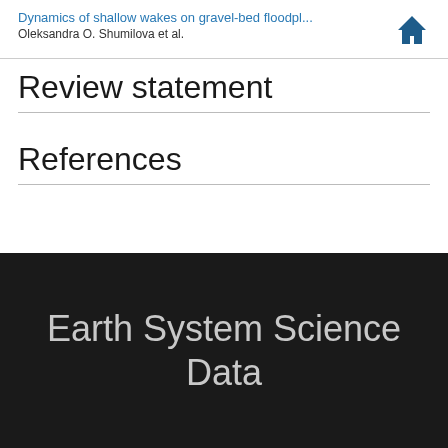Dynamics of shallow wakes on gravel-bed floodpl...
Oleksandra O. Shumilova et al.
Review statement
References
Earth System Science Data